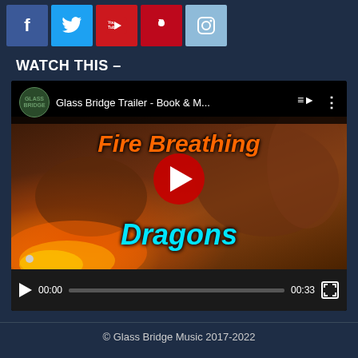[Figure (other): Social media icon buttons: Facebook (blue), Twitter (light blue), YouTube (red), Pinterest (red), Instagram (light blue/grey)]
WATCH THIS –
[Figure (screenshot): YouTube video embed showing 'Glass Bridge Trailer - Book & M...' with a dragon image, text 'Fire Breathing Dragons' overlaid in orange and cyan, YouTube play button in center, video controls showing 00:00 / 00:33]
© Glass Bridge Music 2017-2022